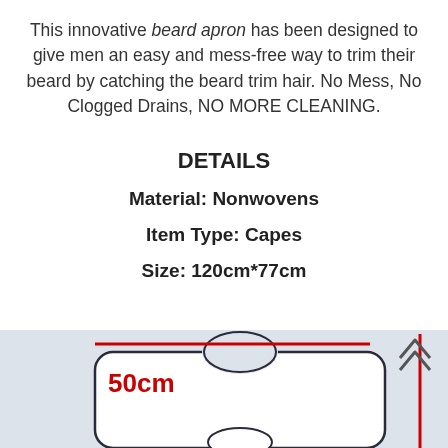This innovative beard apron has been designed to give men an easy and mess-free way to trim their beard by catching the beard trim hair. No Mess, No Clogged Drains, NO MORE CLEANING.
DETAILS
Material: Nonwovens
Item Type: Capes
Size: 120cm*77cm
[Figure (photo): Photo of a beard apron/cape laid flat on a light blue background, with a red horizontal line at the top and a red vertical line on the right side indicating dimensions. A red label reads '50cm'.]